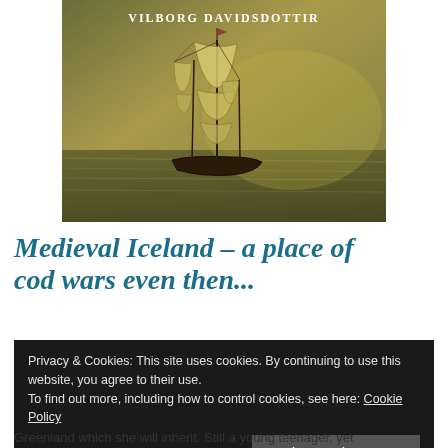[Figure (illustration): Book cover image showing a tall sailing ship on dark water with a golden/greenish hue. Author name 'VILBORG DAVIDSDOTTIR' appears at the top in white serif text.]
Medieval Iceland – a place of cod wars even then...
Privacy & Cookies: This site uses cookies. By continuing to use this website, you agree to their use.
To find out more, including how to control cookies, see here: Cookie Policy
Greenland which she will inherit. Still a young teenager, yet